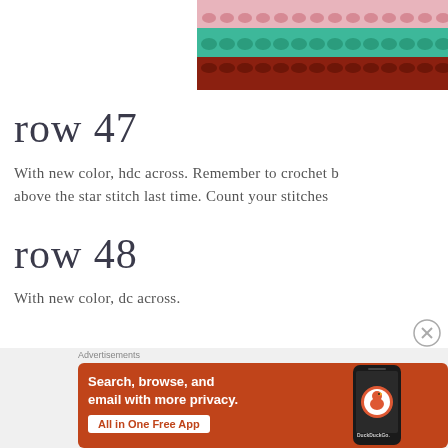[Figure (photo): Close-up of crochet stitches with pink, teal/mint, and dark red yarn layers showing textured star stitch pattern]
row 47
With new color, hdc across. Remember to crochet b above the star stitch last time. Count your stitches
row 48
With new color, dc across.
[Figure (screenshot): DuckDuckGo advertisement banner: orange background with text 'Search, browse, and email with more privacy. All in One Free App' with phone mockup showing DuckDuckGo app icon]